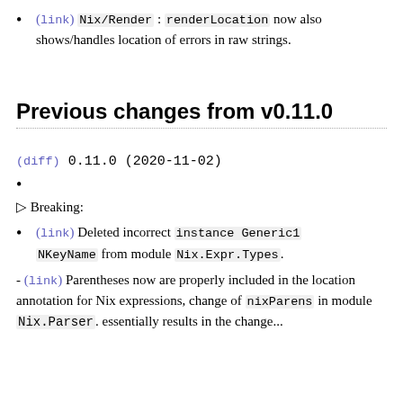(link) Nix/Render: renderLocation now also shows/handles location of errors in raw strings.
Previous changes from v0.11.0
(diff) 0.11.0 (2020-11-02)
🞂 Breaking:
(link) Deleted incorrect instance Generic1 NKeyName from module Nix.Expr.Types.
- (link) Parentheses now are properly included in the location annotation for Nix expressions, change of nixParens in module Nix.Parser. essentially results in the change...